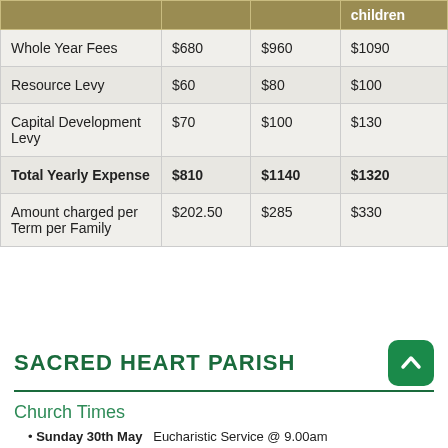|  |  |  | children |
| --- | --- | --- | --- |
| Whole Year Fees | $680 | $960 | $1090 |
| Resource Levy | $60 | $80 | $100 |
| Capital Development Levy | $70 | $100 | $130 |
| Total Yearly Expense | $810 | $1140 | $1320 |
| Amount charged per Term per Family | $202.50 | $285 | $330 |
SACRED HEART PARISH
Church Times
Sunday 30th May  Eucharistic Service @ 9.00am